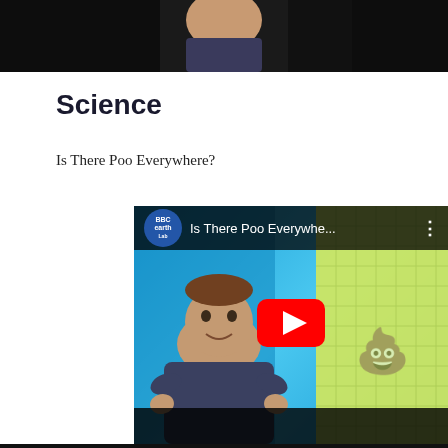[Figure (photo): Top portion of a video or photo showing a person against a dark background, cropped at top of page]
Science
Is There Poo Everywhere?
[Figure (screenshot): YouTube video thumbnail for 'Is There Poo Everywhe...' from BBC Earth Lab channel. Shows a presenter in blue-science-themed studio with a poo emoji on a yellow grid background. Large red YouTube play button in center.]